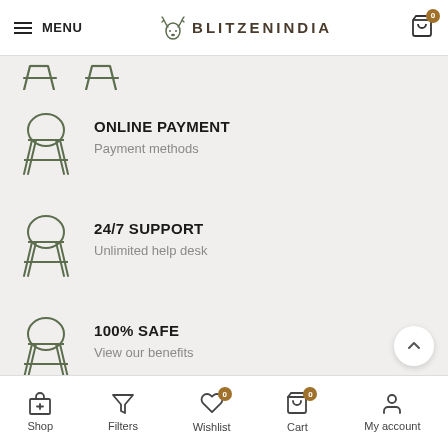MENU | BLITZENINDIA | Cart 0
ONLINE PAYMENT
Payment methods
24/7 SUPPORT
Unlimited help desk
100% SAFE
View our benefits
Shop | Filters | Wishlist 0 | Cart 0 | My account